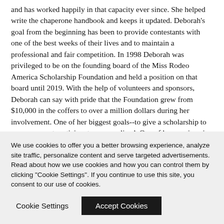and has worked happily in that capacity ever since. She helped write the chaperone handbook and keeps it updated. Deborah's goal from the beginning has been to provide contestants with one of the best weeks of their lives and to maintain a professional and fair competition. In 1998 Deborah was privileged to be on the founding board of the Miss Rodeo America Scholarship Foundation and held a position on that board until 2019. With the help of volunteers and sponsors, Deborah can say with pride that the Foundation grew from $10,000 in the coffers to over a million dollars during her involvement. One of her biggest goals--to give a scholarship to every pageant participant—was realized. One of her passions is to preserve historical knowledge of MRA by designing and updating a database of all the MRA Pageants participants, judges, board members and winners of various awards. Deborah shares this database with MRAI, continues to research and obtain MRA's historical information. For 26 years, Deborah proudly served as a Denver Police Officer and finished her career as a Commander in charge of 190 officers overseeing
We use cookies to offer you a better browsing experience, analyze site traffic, personalize content and serve targeted advertisements. Read about how we use cookies and how you can control them by clicking "Cookie Settings". If you continue to use this site, you consent to our use of cookies.